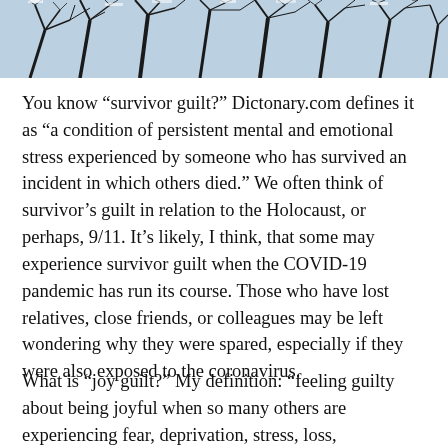[Figure (photo): Bare winter trees with dark branches against a light blue sky, shown as a banner image at the top of the page.]
You know “survivor guilt?”  Dictonary.com defines it as “a condition of persistent mental and emotional stress experienced by someone who has survived an incident in which others died.”  We often think of survivor’s guilt in relation to the Holocaust, or perhaps, 9/11.  It’s likely, I think, that some may experience survivor guilt when the COVID-19 pandemic has run its course. Those who have lost relatives, close friends, or colleagues may be left wondering why they were spared, especially if they were also exposed to the coronavirus.
What is “joy guilt?” My definition: “feeling guilty about being joyful when so many others are experiencing fear, deprivation, stress, loss,